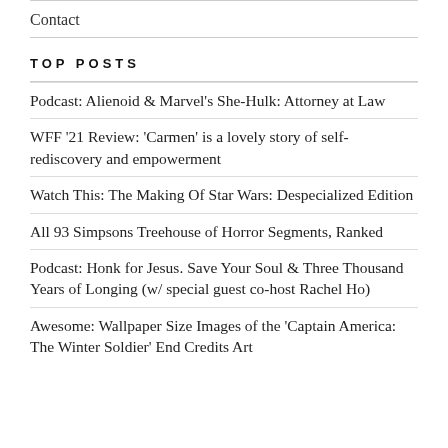Contact
TOP POSTS
Podcast: Alienoid & Marvel's She-Hulk: Attorney at Law
WFF '21 Review: 'Carmen' is a lovely story of self-rediscovery and empowerment
Watch This: The Making Of Star Wars: Despecialized Edition
All 93 Simpsons Treehouse of Horror Segments, Ranked
Podcast: Honk for Jesus. Save Your Soul & Three Thousand Years of Longing (w/ special guest co-host Rachel Ho)
Awesome: Wallpaper Size Images of the 'Captain America: The Winter Soldier' End Credits Art